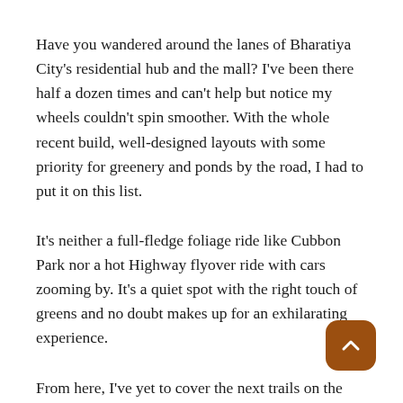Have you wandered around the lanes of Bharatiya City's residential hub and the mall? I've been there half a dozen times and can't help but notice my wheels couldn't spin smoother. With the whole recent build, well-designed layouts with some priority for greenery and ponds by the road, I had to put it on this list.
It's neither a full-fledge foliage ride like Cubbon Park nor a hot Highway flyover ride with cars zooming by. It's a quiet spot with the right touch of greens and no doubt makes up for an exhilarating experience.
From here, I've yet to cover the next trails on the list. Nonetheless, I've filled in a brief description of the based on other cycling route reviews for now.